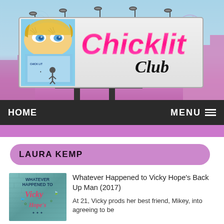[Figure (logo): Chicklit Club website header with billboard graphic showing logo with stylized pink 'Chicklit' script and black 'Club' text, city skyline background in blue and purple]
HOME    MENU
LAURA KEMP
[Figure (illustration): Book cover for 'Whatever Happened to Vicky Hope's Back Up Man' with teal brick wall background]
Whatever Happened to Vicky Hope's Back Up Man (2017)
At 21, Vicky prods her best friend, Mikey, into agreeing to be